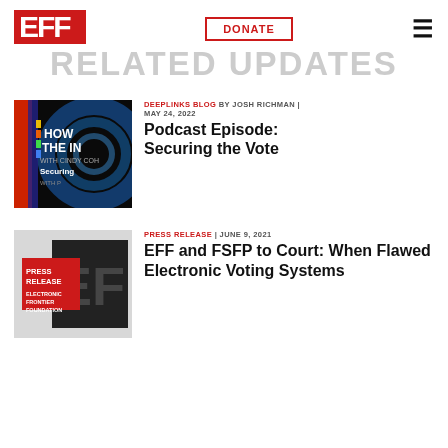EFF | DONATE
RELATED UPDATES
[Figure (screenshot): Podcast episode thumbnail: 'How the Internet... with Cindy Coh... Securing...' on dark background with blue circular design]
DEEPLINKS BLOG BY JOSH RICHMAN | MAY 24, 2022
Podcast Episode: Securing the Vote
[Figure (logo): EFF Press Release thumbnail: gray background with EFF logo and text 'PRESS RELEASE ELECTRONIC FRONTIER FOUNDATION']
PRESS RELEASE | JUNE 9, 2021
EFF and FSFP to Court: When Flawed Electronic Voting Systems